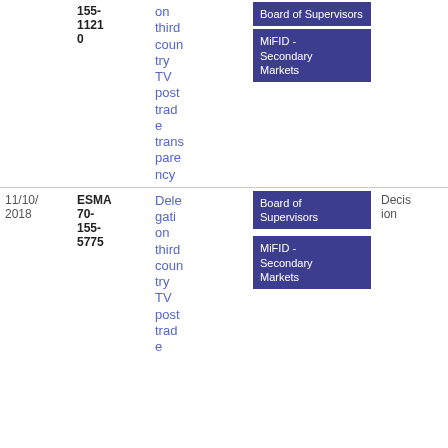| Date | Reference | Title | Tags | Type | Download |
| --- | --- | --- | --- | --- | --- |
|  | 155-11210 | on third country TV post trade transparency | Board of Supervisors | MiFID - Secondary Markets |  | 12
4.97 KB |
| 11/10/2018 | ESMA 70-155-5775 | Delegation third country TV post trade e... | Board of Supervisors | MiFID - Secondary Markets | Decision | PDF
219.76 KB |